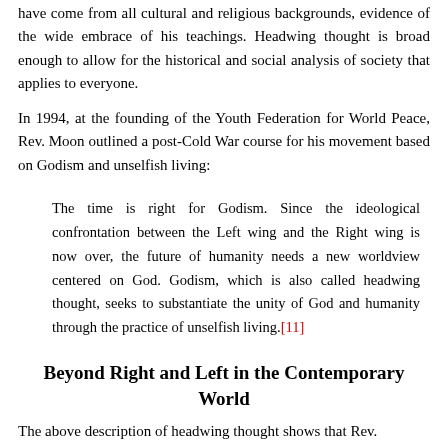have come from all cultural and religious backgrounds, evidence of the wide embrace of his teachings. Headwing thought is broad enough to allow for the historical and social analysis of society that applies to everyone.
In 1994, at the founding of the Youth Federation for World Peace, Rev. Moon outlined a post-Cold War course for his movement based on Godism and unselfish living:
The time is right for Godism. Since the ideological confrontation between the Left wing and the Right wing is now over, the future of humanity needs a new worldview centered on God. Godism, which is also called headwing thought, seeks to substantiate the unity of God and humanity through the practice of unselfish living.[11]
Beyond Right and Left in the Contemporary World
The above description of headwing thought shows that Rev.